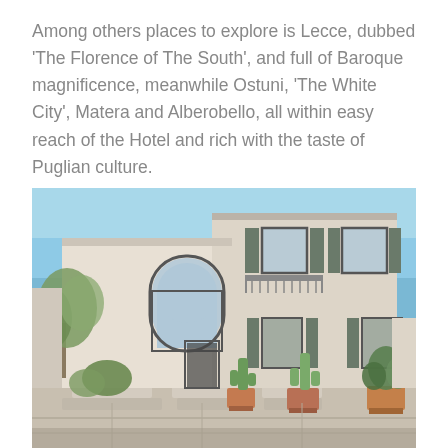Among others places to explore is Lecce, dubbed 'The Florence of The South', and full of Baroque magnificence, meanwhile Ostuni, 'The White City', Matera and Alberobello, all within easy reach of the Hotel and rich with the taste of Puglian culture.
[Figure (photo): Exterior photograph of a white stone Mediterranean-style hotel building with arched windows, dark shutters, balcony with iron railings, and potted plants including cacti and olive trees in the foreground under a blue sky.]